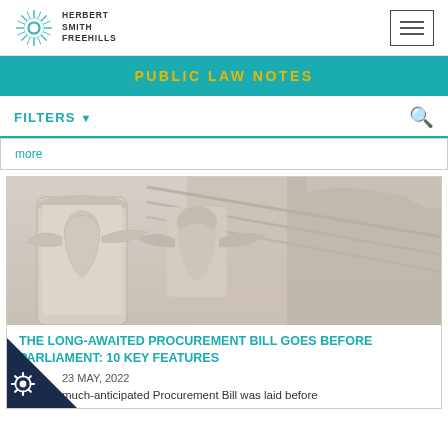HERBERT SMITH FREEHILLS
PUBLIC LAW NOTES
FILTERS ▾
more
[Figure (photo): Stone carved architectural frieze with angel or classical figure relief on building facade]
THE LONG-AWAITED PROCUREMENT BILL GOES BEFORE PARLIAMENT: 10 KEY FEATURES
23 MAY, 2022
much-anticipated Procurement Bill was laid before